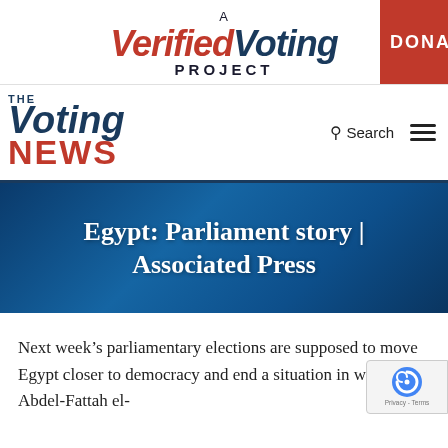[Figure (logo): A Verified Voting Project logo with red 'Verified' and navy 'Voting' italic text, 'PROJECT' in bold navy, and a red 'DONA[TE]' button on the right]
[Figure (logo): The Voting News site logo with blue 'Voting' and red 'NEWS' text, plus Search and hamburger menu icons]
Egypt: Parliament story | Associated Press
Next week’s parliamentary elections are supposed to move Egypt closer to democracy and end a situation in which Abdel-Fattah el-